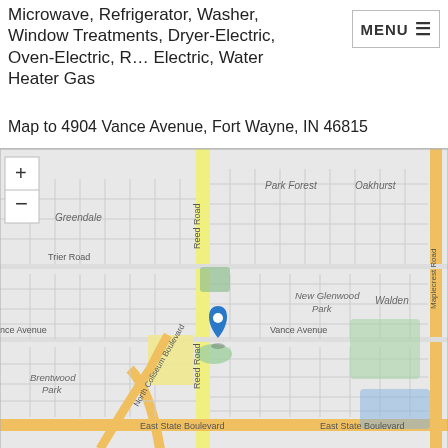Microwave, Refrigerator, Washer, Window Treatments, Dryer-Electric, Oven-Electric, R... Electric, Water Heater Gas
[Figure (map): Street map showing location of 4904 Vance Avenue, Fort Wayne, IN 46815. Map shows surrounding streets including Reed Road, Trier Road, North Coliseum Boulevard, East State Boulevard, and Maplecrest Road. Neighborhoods labeled include Greendale, Park Forest, Oakhurst, New Glenwood Park, Walden, and Brentwood Park. A blue map pin marks the property location near the intersection of Reed Road and Vance Avenue.]
Map to 4904 Vance Avenue, Fort Wayne, IN 46815